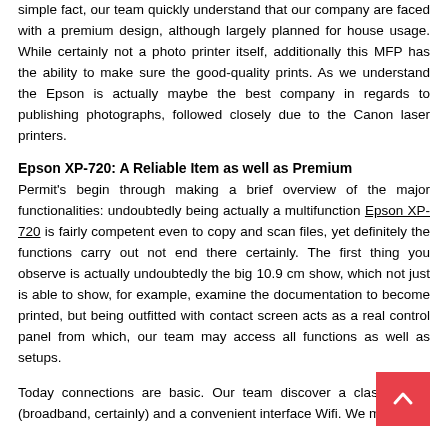simple fact, our team quickly understand that our company are faced with a premium design, although largely planned for house usage. While certainly not a photo printer itself, additionally this MFP has the ability to make sure the good-quality prints. As we understand the Epson is actually maybe the best company in regards to publishing photographs, followed closely due to the Canon laser printers.
Epson XP-720: A Reliable Item as well as Premium
Permit's begin through making a brief overview of the major functionalities: undoubtedly being actually a multifunction Epson XP-720 is fairly competent even to copy and scan files, yet definitely the functions carry out not end there certainly. The first thing you observe is actually undoubtedly the big 10.9 cm show, which not just is able to show, for example, examine the documentation to become printed, but being outfitted with contact screen acts as a real control panel from which, our team may access all functions as well as setups.
Today connections are basic. Our team discover a classic USB (broadband, certainly) and a convenient interface Wifi. We may